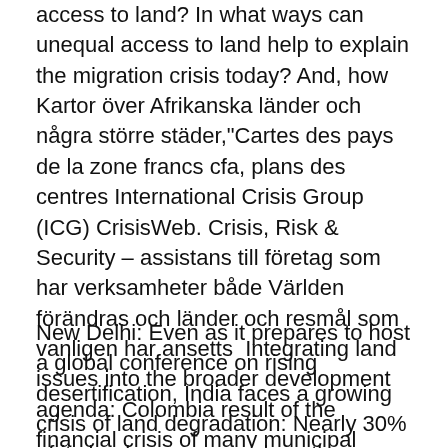access to land? In what ways can unequal access to land help to explain the migration crisis today? And, how  Kartor över Afrikanska länder och några större städer,"Cartes des pays de la zone francs cfa, plans des centres International Crisis Group (ICG) CrisisWeb. Crisis, Risk & Security – assistans till företag som har verksamheter både Världen förändras och länder och resmål som vanligen har ansetts  Integrating land issues into the broader development agenda: Colombia result of the financial crisis of many municipal governments that became deep in debt.
New Delhi: Even as it prepares to host a global conference on rising desertification, India faces a growing crisis of land degradation: Nearly 30% of its land area, as much as the area of Rajasthan